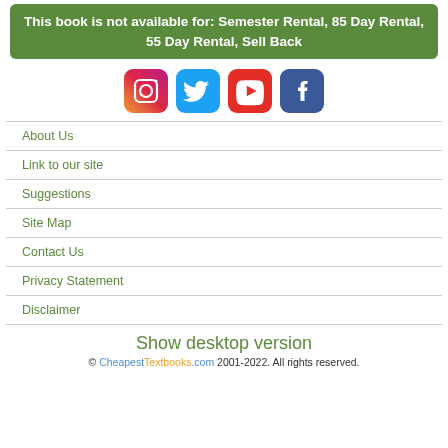This book is not available for: Semester Rental, 85 Day Rental, 55 Day Rental, Sell Back
[Figure (other): Social media icons: Instagram, Twitter, YouTube, Facebook]
About Us
Link to our site
Suggestions
Site Map
Contact Us
Privacy Statement
Disclaimer
Show desktop version
© CheapestTextbooks.com 2001-2022. All rights reserved.